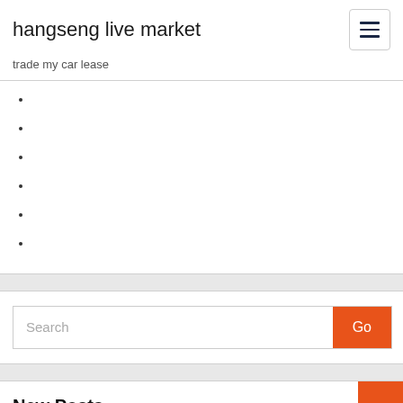hangseng live market
trade my car lease
Search
New Posts